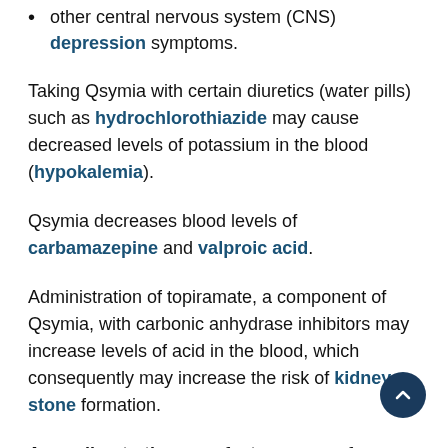other central nervous system (CNS) depression symptoms.
Taking Qsymia with certain diuretics (water pills) such as hydrochlorothiazide may cause decreased levels of potassium in the blood (hypokalemia).
Qsymia decreases blood levels of carbamazepine and valproic acid.
Administration of topiramate, a component of Qsymia, with carbonic anhydrase inhibitors may increase levels of acid in the blood, which consequently may increase the risk of kidney stone formation.
According to the manufacturer, use of Topirimate, a component of Qsymia, may be associated with birth defects specifically left palate...